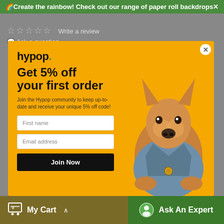🌈Create the rainbow! Check out our range of paper roll backdrops✕
☆☆☆☆☆  Write a review
💬 Ask a question
[Figure (screenshot): Hypop popup modal with golden/yellow background featuring a Shiba Inu dog wearing a denim jacket. Left side shows: hypop. logo, 'Get 5% off your first order' headline, subscription text, First name input, Email address input, and Join Now button. Right side shows the dog illustration. Close (X) button in top right corner.]
My Cart
Ask An Expert